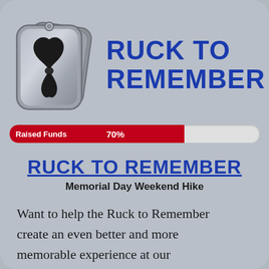[Figure (illustration): Two military dog tags with a black memorial ribbon overlaid on them]
RUCK TO REMEMBER
[Figure (infographic): Progress bar showing Raised Funds at 70%]
RUCK TO REMEMBER
Memorial Day Weekend Hike
Want to help the Ruck to Remember create an even better and more memorable experience at our